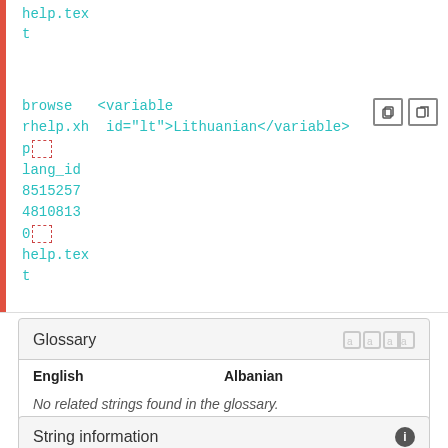help.text
t
browse rhelp.xhp <variable id="lt">Lithuanian</variable>
lang_id
8515257
4810813
0
help.text
t
| English | Albanian |
| --- | --- |
| No related strings found in the glossary. |  |
String information